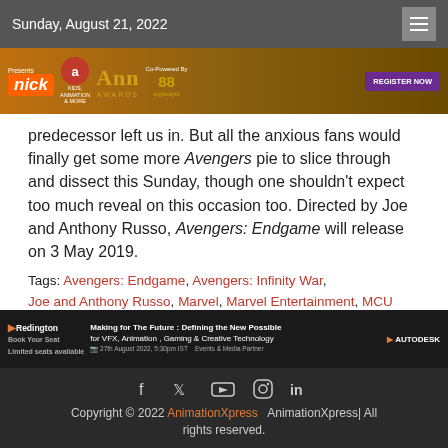Sunday, August 21, 2022
[Figure (infographic): Nick Kids Animation and More / Ann Awards banner ad, Co-Powered By eightsight, REGISTER NOW button]
predecessor left us in. But all the anxious fans would finally get some more Avengers pie to slice through and dissect this Sunday, though one shouldn't expect too much reveal on this occasion too. Directed by Joe and Anthony Russo, Avengers: Endgame will release on 3 May 2019.
Tags: Avengers: Endgame, Avengers: Infinity War, Joe and Anthony Russo, Marvel, Marvel Entertainment, MCU
Glimpses of Aesthetics Youth Conclave 2019
[Figure (infographic): Redington / Autodesk ad banner: Making for The Future: Defining the New Possible for VFX, Animation, Gaming & Creative Technology]
Copyright © 2022 AnimationXpress  AnimationXpress| All rights reserved.